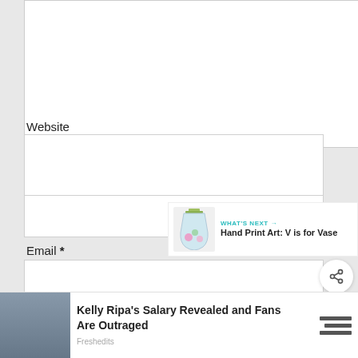[Figure (screenshot): Comment textarea with resize handle at bottom right]
Name *
[Figure (screenshot): Name input field box]
Email *
[Figure (screenshot): Email input field box]
Website
[Figure (screenshot): Website input field box]
[Figure (screenshot): Teal heart button with 1K count and share button on right sidebar]
[Figure (screenshot): What's Next promo box: Hand Print Art: V is for Vase]
[Figure (screenshot): Checkbox for save my name, email, website]
[Figure (screenshot): Ad bar: Kelly Ripa's Salary Revealed and Fans Are Outraged - Freshedits]
the next time